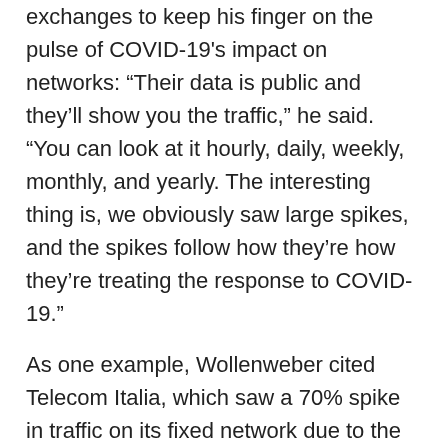exchanges to keep his finger on the pulse of COVID-19's impact on networks: “Their data is public and they’ll show you the traffic,” he said. “You can look at it hourly, daily, weekly, monthly, and yearly. The interesting thing is, we obviously saw large spikes, and the spikes follow how they’re how they’re treating the response to COVID-19.”
As one example, Wollenweber cited Telecom Italia, which saw a 70% spike in traffic on its fixed network due to the country being locked down.
“If we look specifically at Italy, when you look at like the Milan internet exchange, which is which is one of the larger ones, we saw basically a 33% increase in traffic when you had the entire country locked down,” he said.